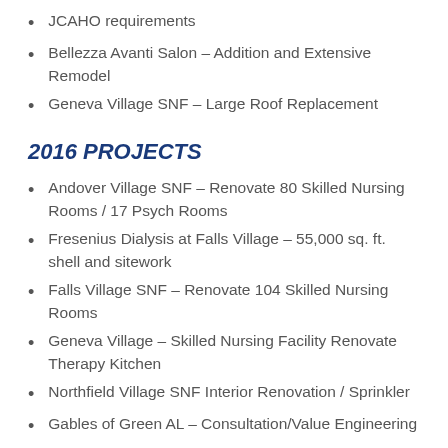JCAHO requirements
Bellezza Avanti Salon – Addition and Extensive Remodel
Geneva Village SNF – Large Roof Replacement
2016 PROJECTS
Andover Village SNF – Renovate 80 Skilled Nursing Rooms / 17 Psych Rooms
Fresenius Dialysis at Falls Village – 55,000 sq. ft. shell and sitework
Falls Village SNF – Renovate 104 Skilled Nursing Rooms
Geneva Village – Skilled Nursing Facility Renovate Therapy Kitchen
Northfield Village SNF Interior Renovation / Sprinkler
Gables of Green AL – Consultation/Value Engineering